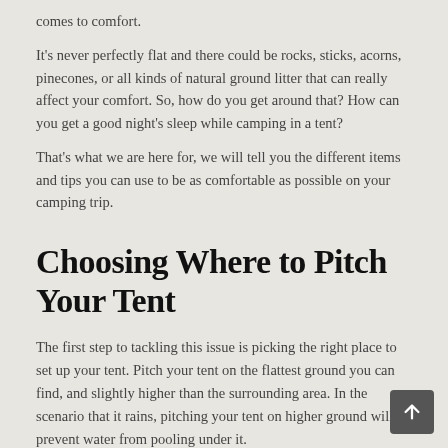comes to comfort.
It's never perfectly flat and there could be rocks, sticks, acorns, pinecones, or all kinds of natural ground litter that can really affect your comfort. So, how do you get around that? How can you get a good night's sleep while camping in a tent?
That's what we are here for, we will tell you the different items and tips you can use to be as comfortable as possible on your camping trip.
Choosing Where to Pitch Your Tent
The first step to tackling this issue is picking the right place to set up your tent. Pitch your tent on the flattest ground you can find, and slightly higher than the surrounding area. In the scenario that it rains, pitching your tent on higher ground will prevent water from pooling under it.